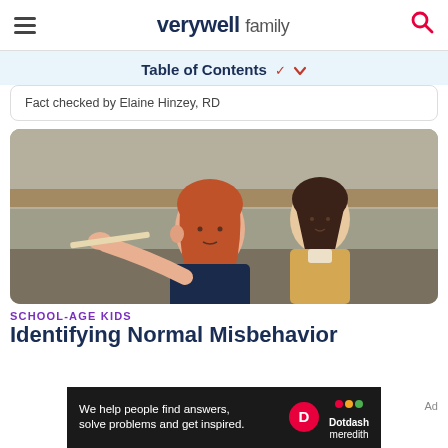verywell family
Table of Contents
Fact checked by Elaine Hinzey, RD
[Figure (photo): Two school-age children in a classroom; a red-haired boy holding a ruler and pointing, and a dark-haired girl in the background]
SCHOOL-AGE KIDS
Identifying Normal Misbehavior
We help people find answers, solve problems and get inspired. Dotdash meredith